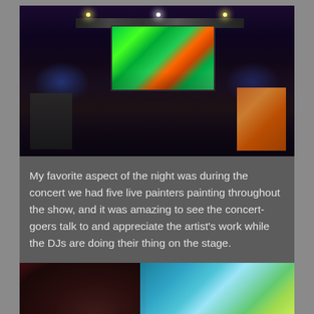[Figure (photo): Nighttime outdoor concert with a large crowd, a brightly lit stage with a colorful green and orange LED screen displaying a skull-like image, stage lighting rigs, blue atmospheric lighting on sides, and easels with canvases from live painters visible in the foreground.]
My favorite aspect of the night was during the concert we had five live painters painting throughout the show, and it was amazing to see the concert-goers talk to and appreciate the artist's work while the DJs are doing their thing on the stage.
[Figure (photo): Close-up photo of the back of a person's head with dark hair and a green hair accessory, looking at a colorful painting with blue, green, yellow, and white floral/nature motifs.]